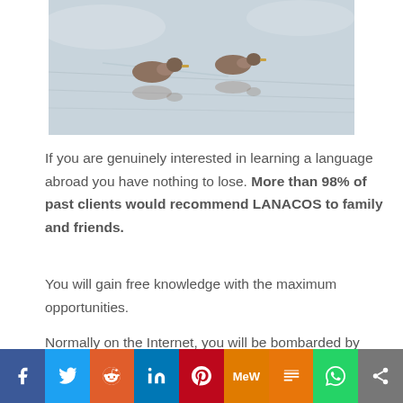[Figure (photo): Two ducks swimming on a calm, misty lake with reflections visible on the water surface.]
If you are genuinely interested in learning a language abroad you have nothing to lose. More than 98% of past clients would recommend LANACOS to family and friends.
You will gain free knowledge with the maximum opportunities.
Normally on the Internet, you will be bombarded by
[Figure (infographic): Social media share bar with buttons for Facebook, Twitter, Reddit, LinkedIn, Pinterest, MeWe, Mix, WhatsApp, and a generic share icon.]